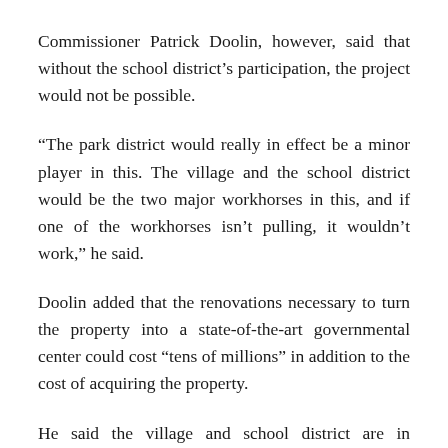Commissioner Patrick Doolin, however, said that without the school district's participation, the project would not be possible.
“The park district would really in effect be a minor player in this. The village and the school district would be the two major workhorses in this, and if one of the workhorses isn’t pulling, it wouldn’t work,” he said.
Doolin added that the renovations necessary to turn the property into a state-of-the-art governmental center could cost “tens of millions” in addition to the cost of acquiring the property.
He said the village and school district are in agreement with